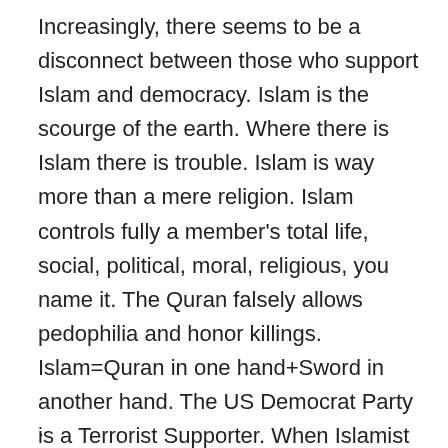Increasingly, there seems to be a disconnect between those who support Islam and democracy. Islam is the scourge of the earth. Where there is Islam there is trouble. Islam is way more than a mere religion. Islam controls fully a member's total life, social, political, moral, religious, you name it. The Quran falsely allows pedophilia and honor killings. Islam=Quran in one hand+Sword in another hand. The US Democrat Party is a Terrorist Supporter. When Islamist Terrorists scream Allah Akbar before murdering innocent people, the rest of us tend to think, yeah, there's an evil political agenda here. When people of the religion go to war or commit terrorism to gain converts then it is a political force as well as a religious one and no amount of articles saying otherwise is going to change that one inconvenient fac